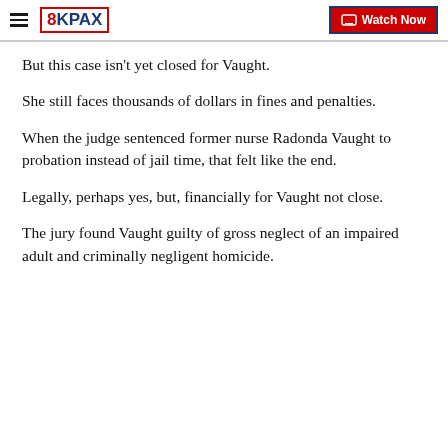8KPAX | Watch Now
But this case isn't yet closed for Vaught.
She still faces thousands of dollars in fines and penalties.
When the judge sentenced former nurse Radonda Vaught to probation instead of jail time, that felt like the end.
Legally, perhaps yes, but, financially for Vaught not close.
The jury found Vaught guilty of gross neglect of an impaired adult and criminally negligent homicide.